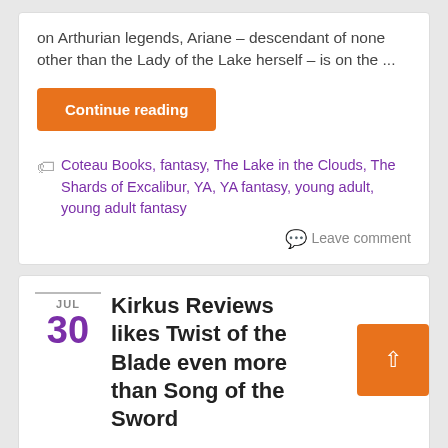on Arthurian legends, Ariane – descendant of none other than the Lady of the Lake herself – is on the ...
Continue reading
Coteau Books, fantasy, The Lake in the Clouds, The Shards of Excalibur, YA, YA fantasy, young adult, young adult fantasy
Leave comment
Kirkus Reviews likes Twist of the Blade even more than Song of the Sword
JUL 30
By admin in Edward Willett Books, Featured, Song of the Sword, Twist of the Blade
[Figure (photo): Dark background image at bottom of page]